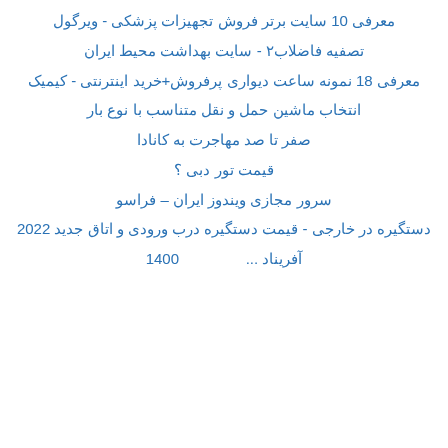معرفی 10 سایت برتر فروش تجهیزات پزشکی - ویرگول
تصفیه فاضلاب۲ - سایت بهداشت محیط ایران
معرفی 18 نمونه ساعت دیواری پرفروش+خرید اینترنتی - کیمیک
انتخاب ماشین حمل و نقل متناسب با نوع بار
صفر تا صد مهاجرت به کانادا
قیمت تور دبی ؟
سرور مجازی ویندوز ایران – فراسو
دستگیره در خارجی - قیمت دستگیره درب ورودی و اتاق جدید 2022
آفریناد ...